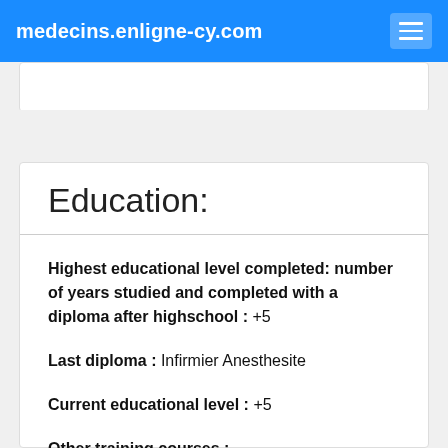medecins.enligne-cy.com
Education:
Highest educational level completed: number of years studied and completed with a diploma after highschool : +5
Last diploma : Infirmier Anesthesite
Current educational level : +5
Other training courses :